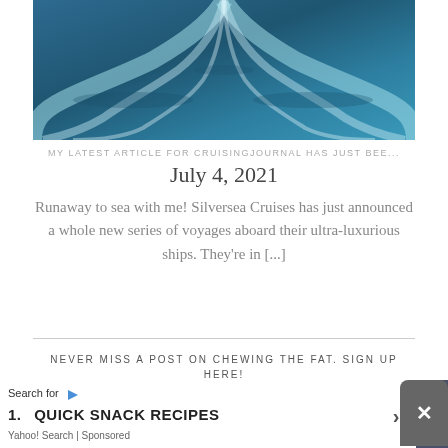[Figure (photo): Ocean wake/waves behind a ship, dark blue-teal water with white foam trails]
MY LATEST ARTICLE FOR CRUISINGJOURNAL HAS JUST BEE...
July 4, 2021
Runaway to sea with me! Silversea Cruises has just announced a whole new series of voyages aboard their ultra-luxurious ships. They’re in [...]
NEVER MISS A POST ON CHEWING THE FAT. SIGN UP HERE!
SUBSCRIBE TO OUR MAILING LIST
Search for
1. QUICK SNACK RECIPES
Yahoo! Search | Sponsored